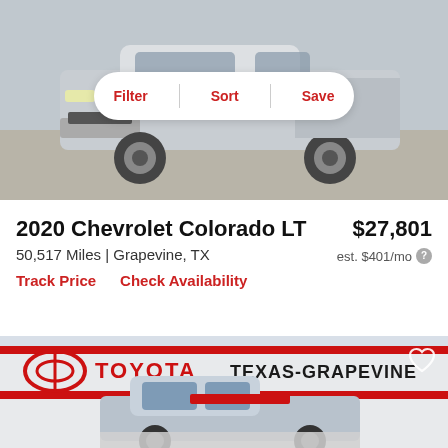[Figure (photo): Front view of a silver pickup truck (Chevrolet Colorado) on a parking lot, with Filter, Sort, Save button overlay]
2020 Chevrolet Colorado LT
$27,801
50,517 Miles | Grapevine, TX
est. $401/mo
Track Price
Check Availability
[Figure (photo): Silver Chevrolet Colorado truck parked in front of Toyota of Texas-Grapevine dealership, with heart/save icon in top-right corner]